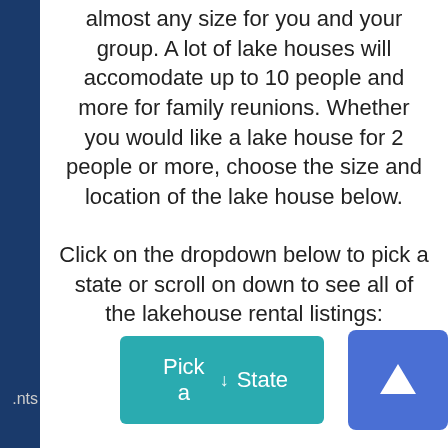almost any size for you and your group. A lot of lake houses will accomodate up to 10 people and more for family reunions. Whether you would like a lake house for 2 people or more, choose the size and location of the lake house below.
Click on the dropdown below to pick a state or scroll on down to see all of the lakehouse rental listings:
[Figure (screenshot): A teal/cyan 'Pick a State' dropdown button with a downward arrow icon, and a blue square button with a white upward arrow icon (scroll-to-top button)]